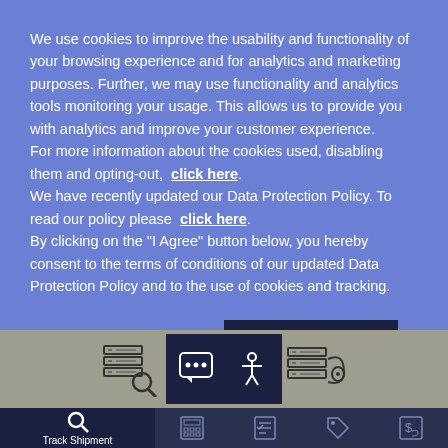We use cookies to improve the usability and functionality of your browsing experience and for analytics and marketing purposes. Further, we may use functionality and analytics tools monitoring your usage. This allows us to provide you with analytics and improve your customer experience. For more information about the cookies used, disabling them and opting-out,  click here. We have recently updated our Data Protection Policy. To read our policy please  click here. By clicking on the "I Agree" button below, you hereby consent to the terms of conditions of our updated Data Protection Policy and to the use of cookies and tracking.
Cookies Settings
I Agree
[Figure (screenshot): Bottom toolbar with icons: track shipment search icon, calculator icon, checklist icon, tag/price icon, dollar/hand icon, and top gray bar with server/search icon, chat icon, accessibility icon, server/remote icon]
Track Shipment